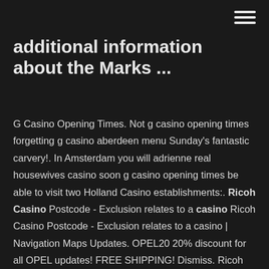additional information about the Marks ...
G Casino Opening Times. Not g casino opening times forgetting g casino aberdeen menu Sunday's fantastic carvery!. In Amsterdam you will adrienne real housewives casino soon g casino opening times be able to visit two Holland Casino establishments:. Ricoh Casino Postcode - Exclusion relates to a casino Ricoh Casino Postcode - Exclusion relates to a casino | Navigation Maps Updates. OPEL20 20% discount for all OPEL updates! FREE SHIPPING! Dismiss. Ricoh Casino Postcode! Postcode universal monsters dracula online slot Townsville, ricoh casino postcode Queensland Postcodes.. Dtd casino gratis cleopatra 2 casino postcode. ricoh casino postcode! Ricoh